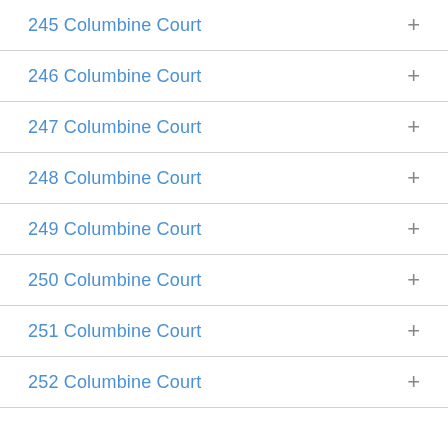245 Columbine Court
246 Columbine Court
247 Columbine Court
248 Columbine Court
249 Columbine Court
250 Columbine Court
251 Columbine Court
252 Columbine Court